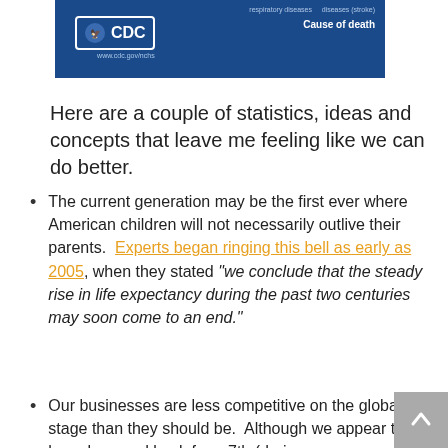[Figure (screenshot): Partial CDC branded image showing cause of death chart header with CDC logo and labels for respiratory diseases and diseases (stroke) and 'Cause of death' text on dark blue background]
Here are a couple of statistics, ideas and concepts that leave me feeling like we can do better.
The current generation may be the first ever where American children will not necessarily outlive their parents.  Experts began ringing this bell as early as 2005, when they stated "we conclude that the steady rise in life expectancy during the past two centuries may soon come to an end."
Our businesses are less competitive on the global stage than they should be.  Although we appear to have bounced back from 7th (during